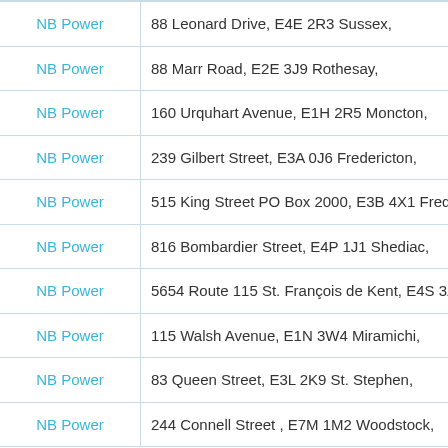| Name | Address |
| --- | --- |
| NB Power | 88 Leonard Drive, E4E 2R3 Sussex, |
| NB Power | 88 Marr Road, E2E 3J9 Rothesay, |
| NB Power | 160 Urquhart Avenue, E1H 2R5 Moncton, |
| NB Power | 239 Gilbert Street, E3A 0J6 Fredericton, |
| NB Power | 515 King Street PO Box 2000, E3B 4X1 Frede... |
| NB Power | 816 Bombardier Street, E4P 1J1 Shediac, |
| NB Power | 5654 Route 115 St. François de Kent, E4S 3Z... |
| NB Power | 115 Walsh Avenue, E1N 3W4 Miramichi, |
| NB Power | 83 Queen Street, E3L 2K9 St. Stephen, |
| NB Power | 244 Connell Street , E7M 1M2 Woodstock, |